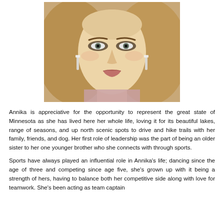[Figure (photo): Portrait photo of a young woman with long blonde hair, dramatic eye makeup, dangling crystal earrings, and a sparkly top. She is looking directly at the camera.]
Annika is appreciative for the opportunity to represent the great state of Minnesota as she has lived here her whole life, loving it for its beautiful lakes, range of seasons, and up north scenic spots to drive and hike trails with her family, friends, and dog. Her first role of leadership was the part of being an older sister to her one younger brother who she connects with through sports.
Sports have always played an influential role in Annika's life; dancing since the age of three and competing since age five, she's grown up with it being a strength of hers, having to balance both her competitive side along with love for teamwork. She's been acting as team captain along with